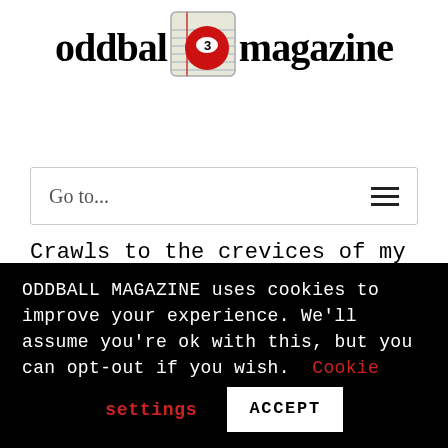[Figure (logo): Oddball Magazine logo with notebook icon containing a red billiard ball with number 3]
Go to...
Crawls to the crevices of my mouth and pulls in select chunks of crusty skin potentially infused with cat hair. My eyes sewn shut with salty evaporated
ODDBALL MAGAZINE uses cookies to improve your experience. We’ll assume you’re ok with this, but you can opt-out if you wish. Cookie settings ACCEPT